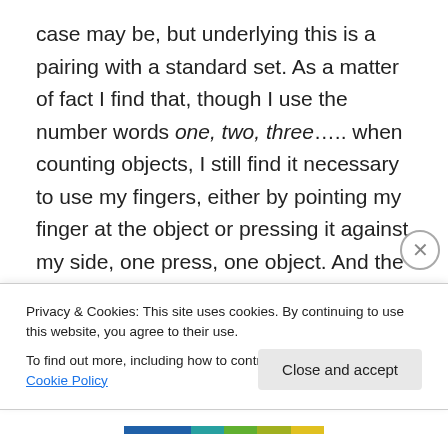case may be, but underlying this is a pairing with a standard set. As a matter of fact I find that, though I use the number words one, two, three….. when counting objects, I still find it necessary to use my fingers, either by pointing my finger at the object or pressing it against my side, one press, one object. And the umpire in a cricket match still uses stones or pebbles : one ball bowled, one stone shifted from the right hand to the left. It is not that the finger or stone pairing off is valid because of our ciphered numerals but the reverse : our written or spoken numerals 'work' because underlying them is this pairing off
Privacy & Cookies: This site uses cookies. By continuing to use this website, you agree to their use.
To find out more, including how to control cookies, see here: Cookie Policy